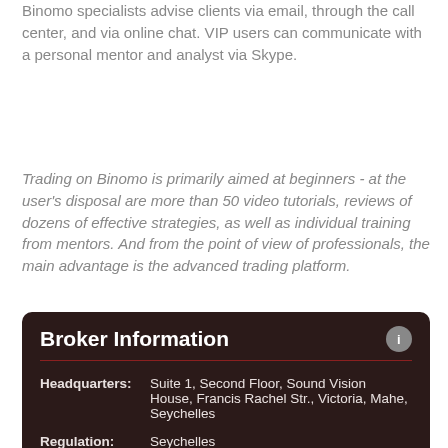When questions arise, users can always ask for help. Binomo specialists advise clients via email, through the call center, and via online chat. VIP users can communicate with a personal mentor and analyst via Skype.
Trading on Binomo is primarily aimed at beginners - at the user's disposal are more than 50 video tutorials, reviews of dozens of effective strategies, as well as individual training from mentors. And from the point of view of professionals, the main advantage is the advanced trading platform.
| Headquarters: | Suite 1, Second Floor, Sound Vision House, Francis Rachel Str., Victoria, Mahe, Seychelles |
| Regulation: | Seychelles |
| Software: | Binomo |